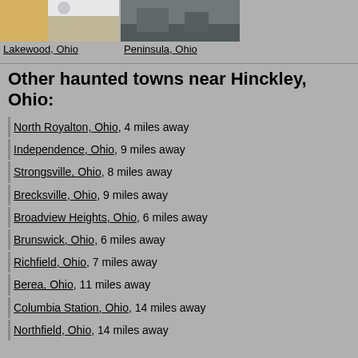[Figure (photo): Photo of Lakewood, Ohio - autumn scene with leaves]
Lakewood, Ohio
[Figure (photo): Photo of Peninsula, Ohio - outdoor/nature scene]
Peninsula, Ohio
Other haunted towns near Hinckley, Ohio:
North Royalton, Ohio, 4 miles away
Independence, Ohio, 9 miles away
Strongsville, Ohio, 8 miles away
Brecksville, Ohio, 9 miles away
Broadview Heights, Ohio, 6 miles away
Brunswick, Ohio, 6 miles away
Richfield, Ohio, 7 miles away
Berea, Ohio, 11 miles away
Columbia Station, Ohio, 14 miles away
Northfield, Ohio, 14 miles away